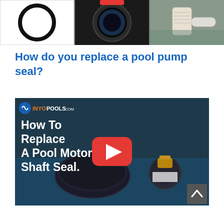[Figure (photo): Top image strip showing three pool pump seal images: a rubber O-ring on white background, a pool pump seal installed in pump housing, and a pool pump basket/strainer with PVC pipe]
How do you replace a pool pump seal?
[Figure (screenshot): YouTube video thumbnail from inyopools.com showing 'How To Replace A Pool Motor Shaft Seal.' with a YouTube play button overlay. Shows pool motor seal parts on blue surface.]